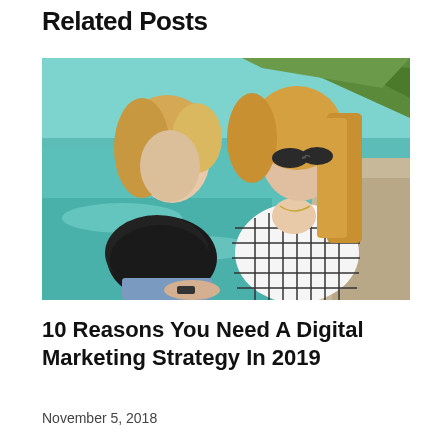Related Posts
[Figure (photo): Two young blonde women sitting by a swimming pool. One wears a black off-shoulder top, the other a white grid-pattern tank top with sunglasses. Sunny outdoor setting with palm trees and turquoise water in background.]
10 Reasons You Need A Digital Marketing Strategy In 2019
November 5, 2018